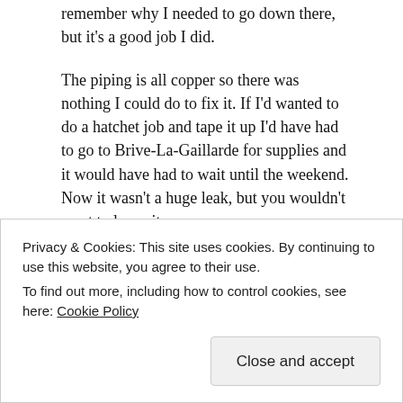remember why I needed to go down there, but it's a good job I did.
The piping is all copper so there was nothing I could do to fix it. If I'd wanted to do a hatchet job and tape it up I'd have had to go to Brive-La-Gaillarde for supplies and it would have had to wait until the weekend. Now it wasn't a huge leak, but you wouldn't want to leave it.
So, a plumber it had to be. A quick search on Google located Bugeaud et Fils, Hautefort in Hautefort as the closest plombier. In spite o my lack of French they were
Privacy & Cookies: This site uses cookies. By continuing to use this website, you agree to their use.
To find out more, including how to control cookies, see here: Cookie Policy